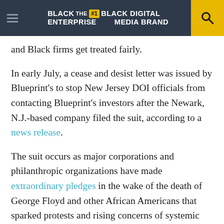BLACK ENTERPRISE THE #1 BLACK DIGITAL MEDIA BRAND
and Black firms get treated fairly.
In early July, a cease and desist letter was issued by Blueprint's to stop New Jersey DOI officials from contacting Blueprint's investors after the Newark, N.J.-based company filed the suit, according to a news release.
The suit occurs as major corporations and philanthropic organizations have made extraordinary pledges in the wake of the death of George Floyd and other African Americans that sparked protests and rising concerns of systemic racism across America. The suit also comes after a 2019 study that revealed Black investment fund managers had faced racial bias for years despite